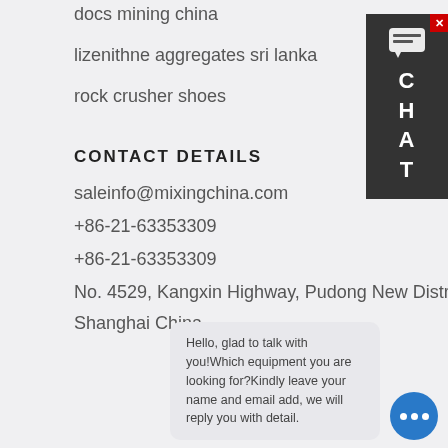docs mining china
lizenithne aggregates sri lanka
rock crusher shoes
CONTACT DETAILS
saleinfo@mixingchina.com
+86-21-63353309
+86-21-63353309
No. 4529, Kangxin Highway, Pudong New District,
Shanghai China
[Figure (screenshot): Chat widget on the right side with dark background showing C H A T letters vertically and a message bubble icon, with a red X close button]
Hello, glad to talk with you!Which equipment you are looking for?Kindly leave your name and email add, we will reply you with detail.